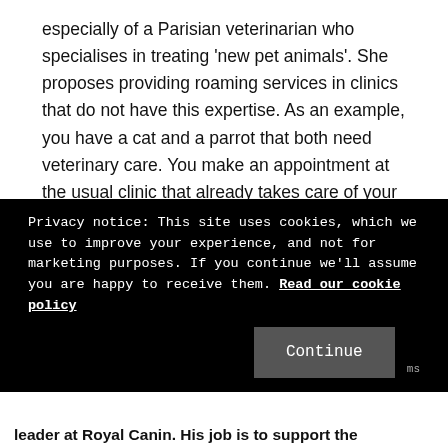especially of a Parisian veterinarian who specialises in treating 'new pet animals'. She proposes providing roaming services in clinics that do not have this expertise. As an example, you have a cat and a parrot that both need veterinary care. You make an appointment at the usual clinic that already takes care of your cat and she will come to deliver the care to your parrot at the same time.
To be consistent with the first topic, this text has been written in French and translated almost instantly in English using
www.Deepl.com/Translator which is a translation
Privacy notice: This site uses cookies, which we use to improve your experience, and not for marketing purposes. If you continue we'll assume you are happy to receive them. Read our cookie policy
Continue
leader at Royal Canin. His job is to support the